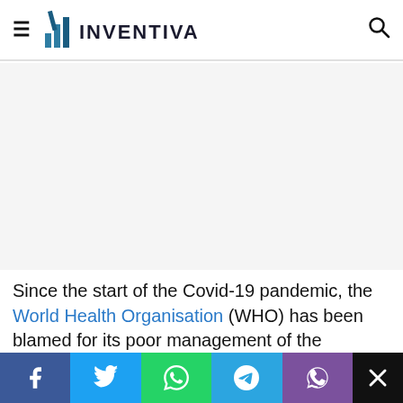INVENTIVA (logo with hamburger menu and search icon)
[Figure (other): Advertisement banner area (blank/white-grey placeholder)]
Since the start of the Covid-19 pandemic, the World Health Organisation (WHO) has been blamed for its poor management of the response to the global health crisis. Caught in the turmoil of tensions between China and the United States, it
Social share bar: Facebook, Twitter, WhatsApp, Telegram, Viber, Close